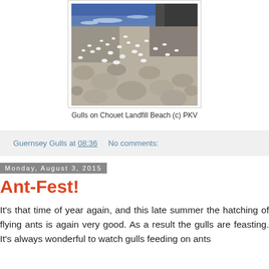[Figure (photo): Photo of gulls on Chouet Landfill Beach, showing rocky shoreline with ocean waves in background and numerous seagulls on the beach among rocks]
Gulls on Chouet Landfill Beach (c) PKV
Guernsey Gulls at 08:36   No comments:
Monday, August 3, 2015
Ant-Fest!
It's that time of year again, and this late summer the hatching of flying ants is again very good. As a result the gulls are feasting. It's always wonderful to watch gulls feeding on ants